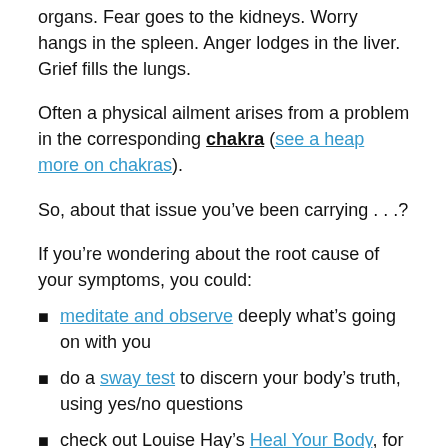organs. Fear goes to the kidneys. Worry hangs in the spleen. Anger lodges in the liver. Grief fills the lungs.
Often a physical ailment arises from a problem in the corresponding chakra (see a heap more on chakras).
So, about that issue you’ve been carrying . . .?
If you’re wondering about the root cause of your symptoms, you could:
meditate and observe deeply what’s going on with you
do a sway test to discern your body’s truth, using yes/no questions
check out Louise Hay’s Heal Your Body, for ideas on the possible meaning of your symptoms (and affirmations to resolve them)
First, if it’s direct, check the...